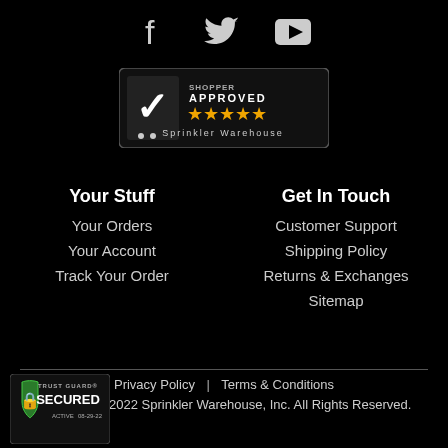[Figure (illustration): Social media icons: Facebook, Twitter, YouTube on black background]
[Figure (logo): Shopper Approved badge with 5 orange stars and 'Sprinkler Warehouse' text]
Your Stuff
Your Orders
Your Account
Track Your Order
Get In Touch
Customer Support
Shipping Policy
Returns & Exchanges
Sitemap
Privacy Policy | Terms & Conditions
Copyright © 2022 Sprinkler Warehouse, Inc. All Rights Reserved.
[Figure (logo): Trust Guard Secured Active 08-29-22 badge]